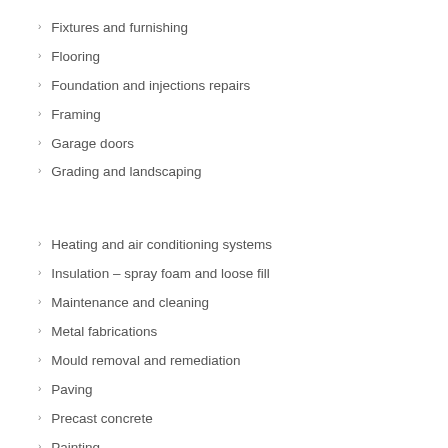Fixtures and furnishing
Flooring
Foundation and injections repairs
Framing
Garage doors
Grading and landscaping
Heating and air conditioning systems
Insulation – spray foam and loose fill
Maintenance and cleaning
Metal fabrications
Mould removal and remediation
Paving
Precast concrete
Painting
Plumbing